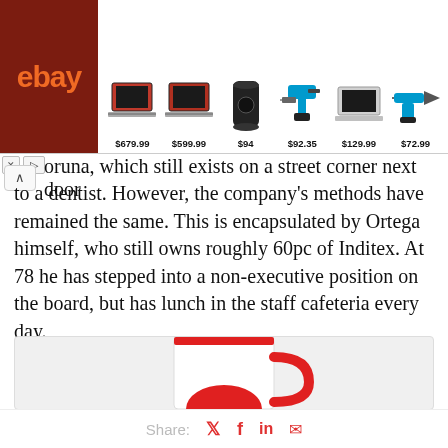[Figure (screenshot): eBay advertisement banner showing 6 products with prices: laptop $679.99, laptop $599.99, speaker $94, power drill kit $92.35, laptop $129.99, saw tool $72.99]
oruna, which still exists on a street corner next door to a dentist. However, the company's methods have remained the same. This is encapsulated by Ortega himself, who still owns roughly 60pc of Inditex. At 78 he has stepped into a non-executive position on the board, but has lunch in the staff cafeteria every day.
Date: October 20, 2014
Source: The Telegraph
[Figure (photo): Partial image of a red and white mug/cup]
Share: